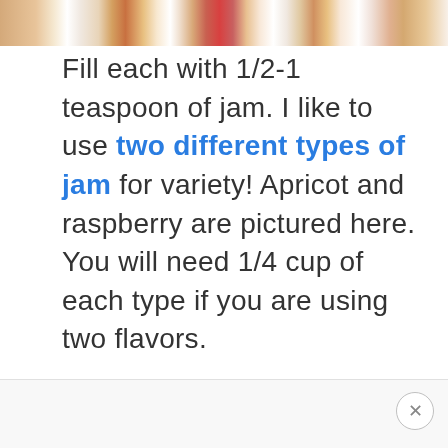[Figure (photo): Photo strip showing small pastries or cookies filled with jam (apricot and raspberry) arranged on a baking sheet, visible at top of page]
Fill each with 1/2-1 teaspoon of jam. I like to use two different types of jam for variety! Apricot and raspberry are pictured here. You will need 1/4 cup of each type if you are using two flavors.